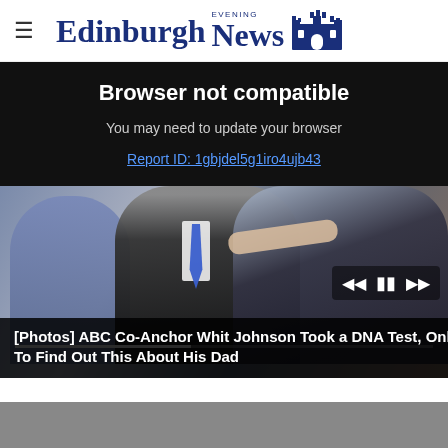Edinburgh Evening News
Browser not compatible
You may need to update your browser
Report ID: 1gbjdel5g1iro4ujb43
[Figure (photo): Two people on a TV set, one adjusting the other's tie; media player controls and progress bar overlay visible]
[Photos] ABC Co-Anchor Whit Johnson Took a DNA Test, Only To Find Out This About His Dad